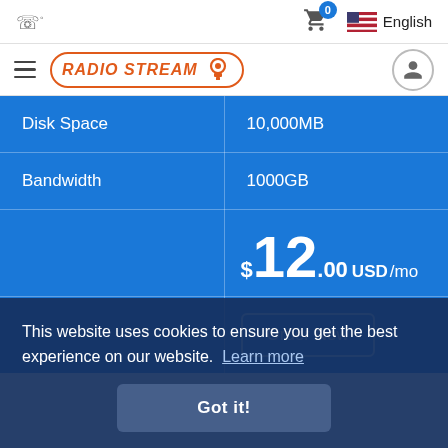Radio Stream — Navigation bar with cart (0 items) and English language selector
[Figure (logo): Radio Stream logo with orange text and icon inside rounded border]
| Feature | Value |
| --- | --- |
| Disk Space | 10,000MB |
| Bandwidth | 1000GB |
|  | $12.00 USD/mo |
Order Now
This website uses cookies to ensure you get the best experience on our website. Learn more
Got it!